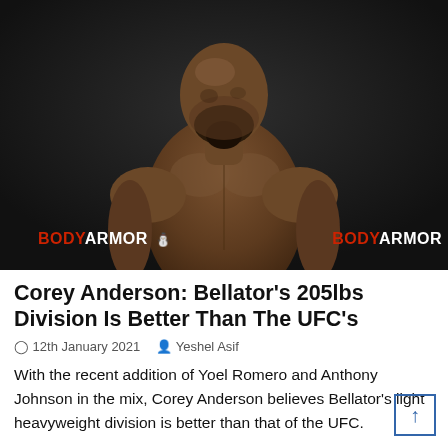[Figure (photo): Shirtless male MMA fighter (Corey Anderson) posing against a dark background with BODYARMOR sponsor logos visible on either side]
Corey Anderson: Bellator's 205lbs Division Is Better Than The UFC's
⊙ 12th January 2021   👤 Yeshel Asif
With the recent addition of Yoel Romero and Anthony Johnson in the mix, Corey Anderson believes Bellator's light heavyweight division is better than that of the UFC.